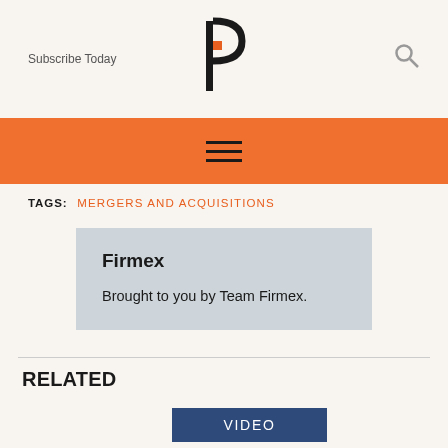Subscribe Today  [P logo]  [Search icon]
[Figure (other): Orange navigation bar with hamburger menu icon (three horizontal lines)]
TAGS: MERGERS AND ACQUISITIONS
Firmex
Brought to you by Team Firmex.
RELATED
[Figure (other): Dark blue VIDEO button]